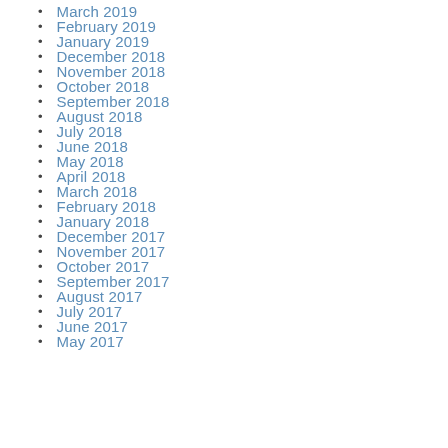March 2019
February 2019
January 2019
December 2018
November 2018
October 2018
September 2018
August 2018
July 2018
June 2018
May 2018
April 2018
March 2018
February 2018
January 2018
December 2017
November 2017
October 2017
September 2017
August 2017
July 2017
June 2017
May 2017